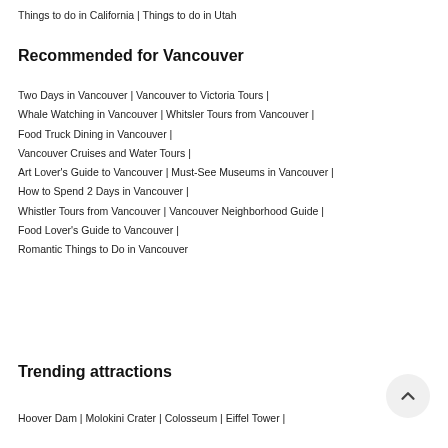Things to do in California | Things to do in Utah
Recommended for Vancouver
Two Days in Vancouver | Vancouver to Victoria Tours |
Whale Watching in Vancouver | Whitsler Tours from Vancouver |
Food Truck Dining in Vancouver |
Vancouver Cruises and Water Tours |
Art Lover's Guide to Vancouver | Must-See Museums in Vancouver |
How to Spend 2 Days in Vancouver |
Whistler Tours from Vancouver | Vancouver Neighborhood Guide |
Food Lover's Guide to Vancouver |
Romantic Things to Do in Vancouver
Trending attractions
Hoover Dam | Molokini Crater | Colosseum | Eiffel Tower |